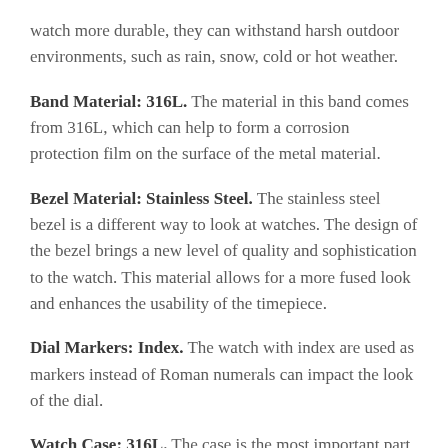watch more durable, they can withstand harsh outdoor environments, such as rain, snow, cold or hot weather.
Band Material: 316L. The material in this band comes from 316L, which can help to form a corrosion protection film on the surface of the metal material.
Bezel Material: Stainless Steel. The stainless steel bezel is a different way to look at watches. The design of the bezel brings a new level of quality and sophistication to the watch. This material allows for a more fused look and enhances the usability of the timepiece.
Dial Markers: Index. The watch with index are used as markers instead of Roman numerals can impact the look of the dial.
Watch Case: 316L. The case is the most important part of the